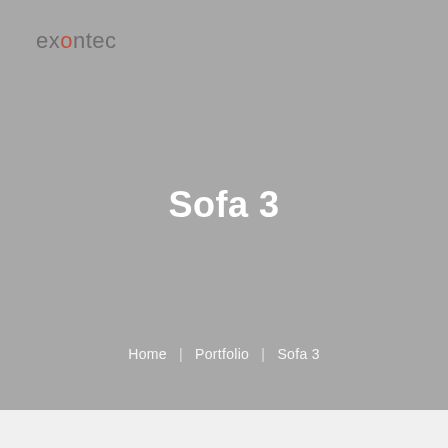exontec
Sofa 3
Home | Portfolio | Sofa 3